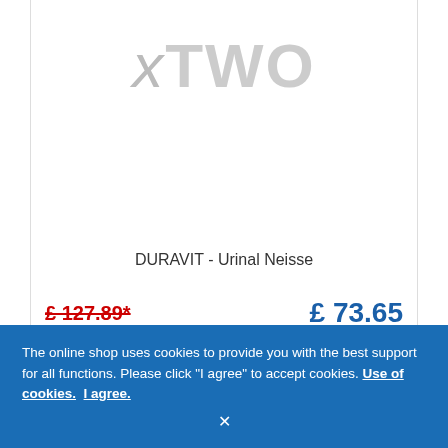[Figure (logo): xTWO brand logo in large gray text]
DURAVIT - Urinal Neisse
£ 127.89* (crossed out, old price) £ 73.65 (new price)
Delivery time: approx. 1-2 weeks
Article no.: 0842290000
ADD TO CART
The online shop uses cookies to provide you with the best support for all functions. Please click "I agree" to accept cookies. Use of cookies. I agree.